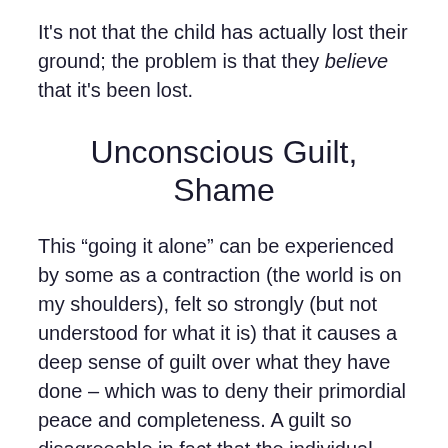It's not that the child has actually lost their ground; the problem is that they believe that it's been lost.
Unconscious Guilt, Shame
This “going it alone” can be experienced by some as a contraction (the world is on my shoulders), felt so strongly (but not understood for what it is) that it causes a deep sense of guilt over what they have done – which was to deny their primordial peace and completeness. A guilt so disagreeable in fact that the individual pushes the guilt out of their awareness – where it lives an unconscious life, as an energy ready to be activated.